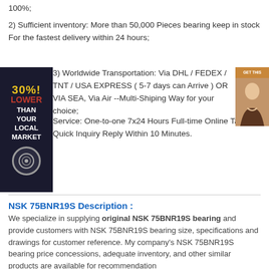100%;
2) Sufficient inventory: More than 50,000 Pieces bearing keep in stock For the fastest delivery within 24 hours;
3) Worldwide Transportation: Via DHL / FEDEX / TNT / USA EXPRESS ( 5-7 days can Arrive ) OR VIA SEA, Via Air --Multi-Shiping Way for your choice;
4) Service: One-to-one 7x24 Hours Full-time Online Talk & Quick Inquiry Reply Within 10 Minutes.
[Figure (infographic): 30% LOWER THAN YOUR LOCAL MARKET badge on dark background with circular logo, and a customer service photo on the right]
NSK 75BNR19S Description :
We specialize in supplying original NSK 75BNR19S bearing and provide customers with NSK 75BNR19S bearing size, specifications and drawings for customer reference. My company's NSK 75BNR19S bearing price concessions, adequate inventory, and other similar products are available for recommendation
Packaging Details :
1 . Industrial tube packing + cartons + pallets
2 . Individual colorful or white box + carton + pallets
3 . As the clients ' requirement